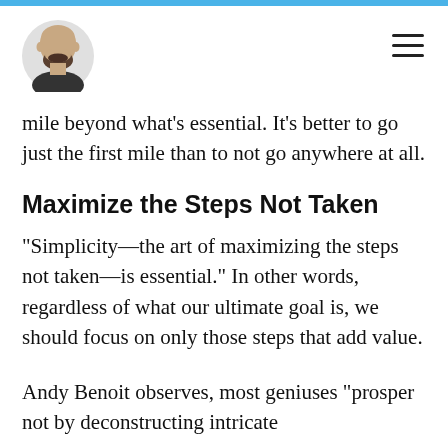mile beyond what's essential. It's better to go just the first mile than to not go anywhere at all.
Maximize the Steps Not Taken
“Simplicity—the art of maximizing the steps not taken—is essential.” In other words, regardless of what our ultimate goal is, we should focus on only those steps that add value.
Andy Benoit observes, most geniuses “prosper not by deconstructing intricate